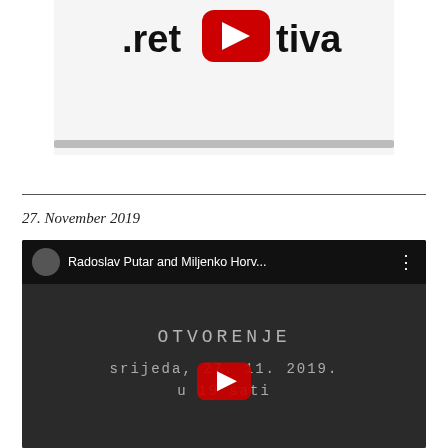[Figure (logo): Partial logo showing text '.ret...tiva' with YouTube play button icon in red]
27. November 2019
[Figure (screenshot): YouTube video embed showing 'Radoslav Putar and Miljenko Horv...' with video thumbnail showing text 'OTVORENJE srijeda, 27. 11. 2019. u 19 sati' on dark background with YouTube play button overlay]